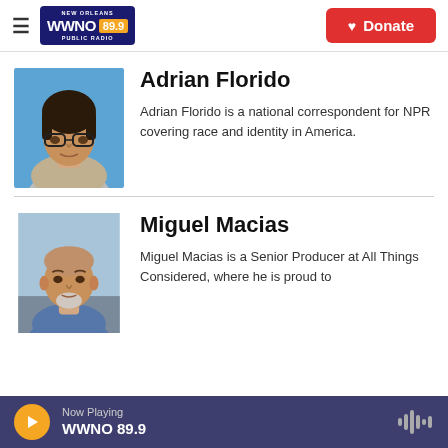WWNO 89.9 NEW ORLEANS PUBLIC RADIO — Donate
Adrian Florido
Adrian Florido is a national correspondent for NPR covering race and identity in America.
Miguel Macias
Miguel Macias is a Senior Producer at All Things Considered, where he is proud to
Now Playing WWNO 89.9